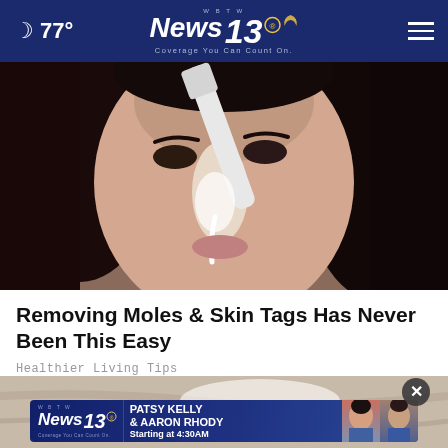77° | WBTW News 13 | Coverage You Can Count On.
[Figure (photo): Close-up of a young woman with dark hair applying a white cream or substance to her nose using a toothbrush]
Removing Moles & Skin Tags Has Never Been This Easy
Healthier Living Tips
[Figure (photo): Bottom partial image with WBTW News 13 advertisement banner showing: PATSY KELLY & AARON RHODY Starting at 4:30AM, with anchor photos]
PATSY KELLY & AARON RHODY Starting at 4:30AM